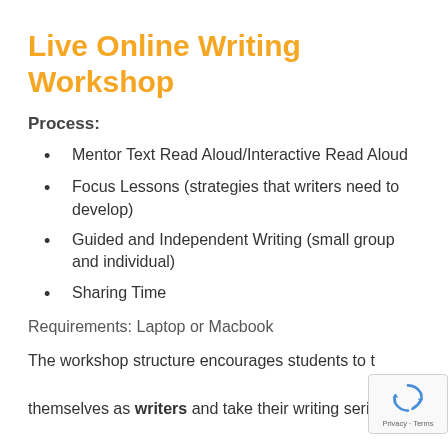Live Online Writing Workshop
Process:
Mentor Text Read Aloud/Interactive Read Aloud
Focus Lessons (strategies that writers need to develop)
Guided and Independent Writing (small group and individual)
Sharing Time
Requirements: Laptop or Macbook
The workshop structure encourages students to think of themselves as writers and take their writing seriously. It gives them the skills to express their important thoughts